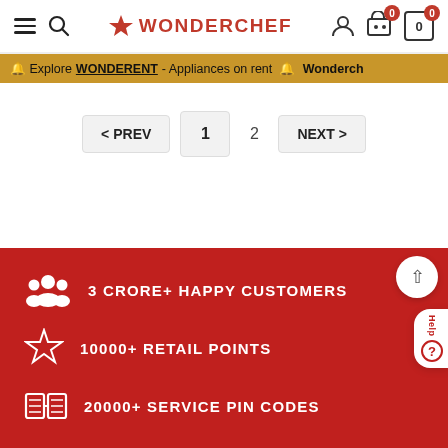WONDERCHEF - navigation header with hamburger menu, search, logo, user icon, cart (0), bag (0)
🔔 Explore WONDERENT - Appliances on rent 🔔 Wonderch
< PREV  1  2  NEXT >
3 CRORE+ HAPPY CUSTOMERS
10000+ RETAIL POINTS
20000+ SERVICE PIN CODES